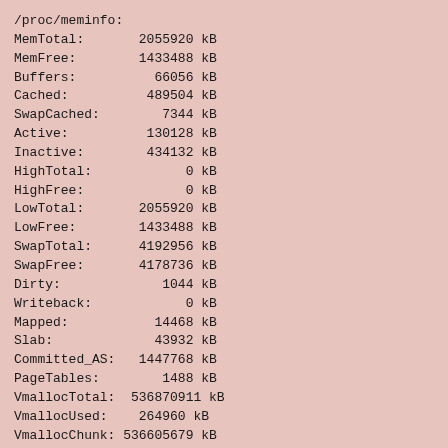/proc/meminfo:
MemTotal:       2055920 kB
MemFree:        1433488 kB
Buffers:          66056 kB
Cached:          489504 kB
SwapCached:        7344 kB
Active:          130128 kB
Inactive:        434132 kB
HighTotal:            0 kB
HighFree:             0 kB
LowTotal:       2055920 kB
LowFree:        1433488 kB
SwapTotal:      4192956 kB
SwapFree:       4178736 kB
Dirty:             1044 kB
Writeback:            0 kB
Mapped:           14468 kB
Slab:             43932 kB
Committed_AS:   1447768 kB
PageTables:        1488 kB
VmallocTotal:  536870911 kB
VmallocUsed:    264960 kB
VmallocChunk: 536605679 kB
HugePages_Total:       0
HugePages_Free:        0
Hugepagesize:       2048 kB

Free space on /tmp at the end= 66452 MiB
End job on node32 at 2009-03-28 23:36:03